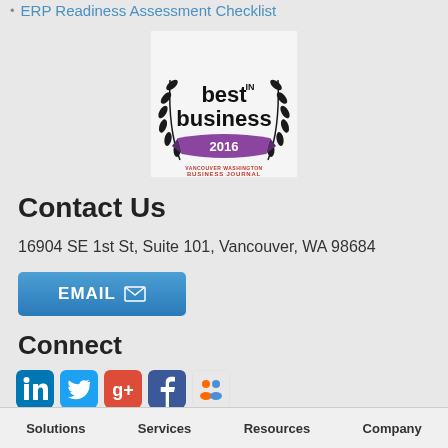ERP Readiness Assessment Checklist
[Figure (logo): Best in Business 2016 award badge — Vancouver Washington Business Journal]
Contact Us
16904 SE 1st St, Suite 101, Vancouver, WA 98684
EMAIL
Connect
[Figure (infographic): Social media icons: LinkedIn, Twitter, Google+, Facebook, and one more (people/network icon)]
Solutions   Services   Resources   Company